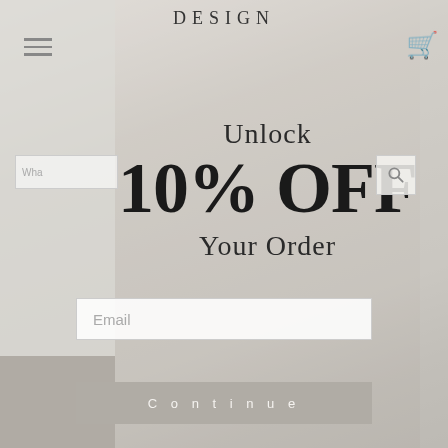DESIGN
[Figure (screenshot): Website screenshot showing a promotional popup overlay on a kitchen interior photo background with navigation elements including hamburger menu, search bar, and cart icon]
Unlock
10% OFF
Your Order
Email
Continue